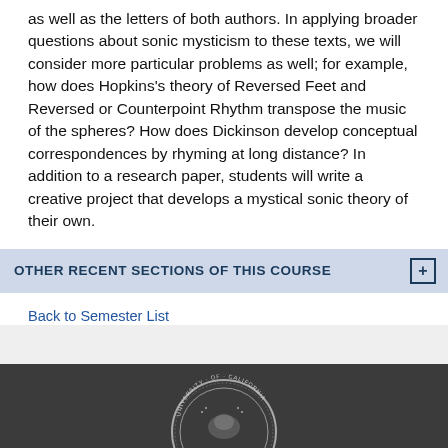as well as the letters of both authors. In applying broader questions about sonic mysticism to these texts, we will consider more particular problems as well; for example, how does Hopkins's theory of Reversed Feet and Reversed or Counterpoint Rhythm transpose the music of the spheres? How does Dickinson develop conceptual correspondences by rhyming at long distance? In addition to a research paper, students will write a creative project that develops a mystical sonic theory of their own.
OTHER RECENT SECTIONS OF THIS COURSE
Back to Semester List
[Figure (logo): University of California seal/logo, partial view at bottom of page]